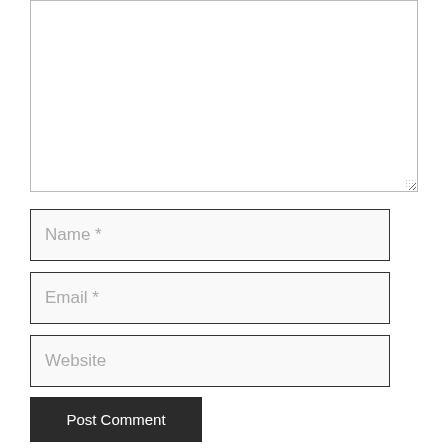[Figure (screenshot): A large empty textarea input field with a resize handle in the bottom-right corner, bordered in light gray.]
Name *
Email *
Website
Post Comment